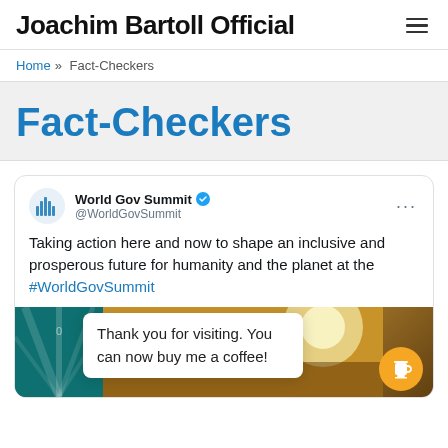Joachim Bartoll Official
Home » Fact-Checkers
Fact-Checkers
[Figure (screenshot): Embedded tweet from @WorldGovSummit (World Gov Summit, verified) reading: 'Taking action here and now to shape an inclusive and prosperous future for humanity and the planet at the #WorldGovSummit', with a tweet image strip below showing teal/blue imagery on the left and warm-toned imagery on the right, plus a 'Thank you for visiting. You can now buy me a coffee!' popup overlay and an orange coffee cup button.]